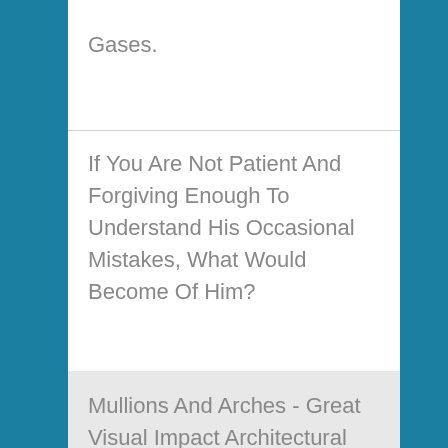Gases.
If You Are Not Patient And Forgiving Enough To Understand His Occasional Mistakes, What Would Become Of Him?
Mullions And Arches - Great Visual Impact Architectural Possibilities Don't End With Just The Bay And The Mullions - Consider Adding An Arch Too.